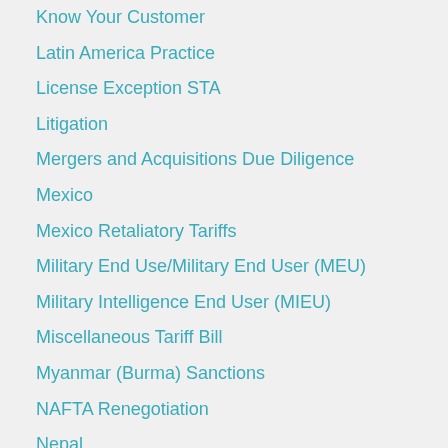Know Your Customer
Latin America Practice
License Exception STA
Litigation
Mergers and Acquisitions Due Diligence
Mexico
Mexico Retaliatory Tariffs
Military End Use/Military End User (MEU)
Military Intelligence End User (MIEU)
Miscellaneous Tariff Bill
Myanmar (Burma) Sanctions
NAFTA Renegotiation
Nepal